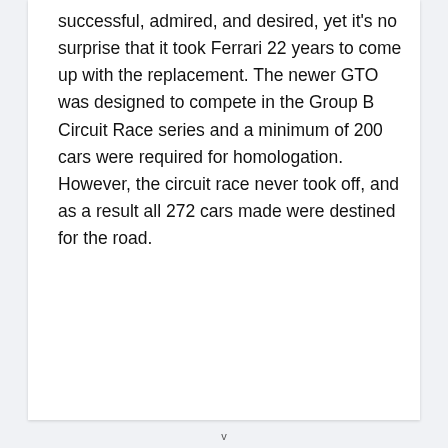successful, admired, and desired, yet it's no surprise that it took Ferrari 22 years to come up with the replacement. The newer GTO was designed to compete in the Group B Circuit Race series and a minimum of 200 cars were required for homologation. However, the circuit race never took off, and as a result all 272 cars made were destined for the road.
v